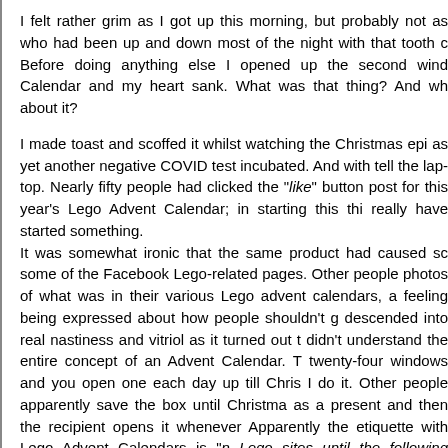I felt rather grim as I got up this morning, but probably not as grim as who had been up and down most of the night with that tooth ache. Before doing anything else I opened up the second wind Calendar and my heart sank. What was that thing? And wh about it?
I made toast and scoffed it whilst watching the Christmas epi as yet another negative COVID test incubated. And with tell the lap-top. Nearly fifty people had clicked the "like" button post for this year's Lego Advent Calendar; in starting this thi really have started something. It was somewhat ironic that the same product had caused sc some of the Facebook Lego-related pages. Other people photos of what was in their various Lego advent calendars, a feeling being expressed about how people shouldn't g descended into real nastiness and vitriol as it turned out t didn't understand the entire concept of an Advent Calendar. T twenty-four windows and you open one each day up till Chris I do it. Other people apparently save the box until Christma as a present and then the recipient opens it whenever Apparently the etiquette with Lego Advent Calendars is "n Lego sites until the following March". Some people were matter. Stuff that.